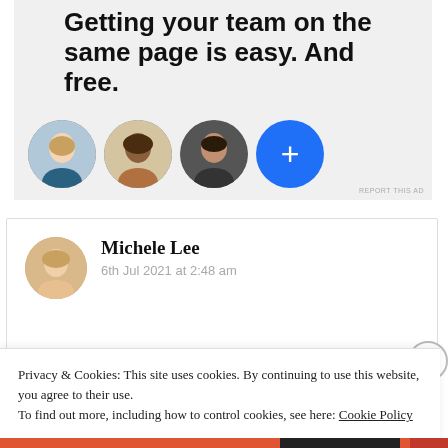[Figure (screenshot): Advertisement banner with gray background showing bold text 'Getting your team on the same page is easy. And free.' with three circular profile photos and one blue plus button below.]
REPORT THIS AD
Michele Lee
6th Jul 2021 at 2:48 am
Privacy & Cookies: This site uses cookies. By continuing to use this website, you agree to their use.
To find out more, including how to control cookies, see here: Cookie Policy
Close and accept